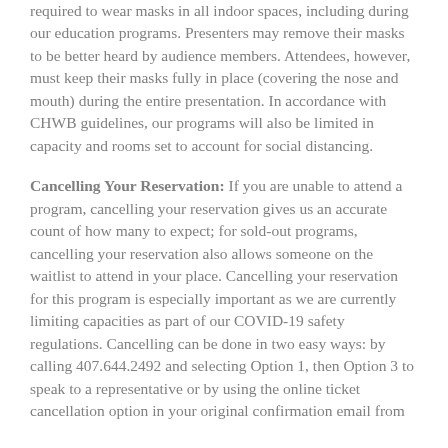required to wear masks in all indoor spaces, including during our education programs. Presenters may remove their masks to be better heard by audience members. Attendees, however, must keep their masks fully in place (covering the nose and mouth) during the entire presentation. In accordance with CHWB guidelines, our programs will also be limited in capacity and rooms set to account for social distancing.
Cancelling Your Reservation: If you are unable to attend a program, cancelling your reservation gives us an accurate count of how many to expect; for sold-out programs, cancelling your reservation also allows someone on the waitlist to attend in your place. Cancelling your reservation for this program is especially important as we are currently limiting capacities as part of our COVID-19 safety regulations. Cancelling can be done in two easy ways: by calling 407.644.2492 and selecting Option 1, then Option 3 to speak to a representative or by using the online ticket cancellation option in your original confirmation email from